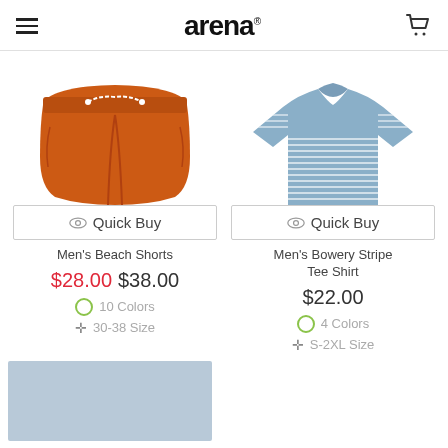arena (logo with hamburger menu and cart icon)
[Figure (photo): Orange men's beach shorts with white drawstring]
Quick Buy
Men's Beach Shorts
$28.00 $38.00
10 Colors
30-38 Size
[Figure (photo): Light blue men's stripe tee shirt (flat lay)]
Quick Buy
Men's Bowery Stripe Tee Shirt
$22.00
4 Colors
S-2XL Size
[Figure (photo): Partial view of a light blue product at the bottom left]